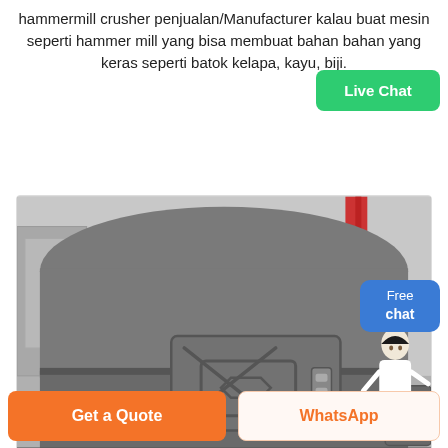hammermill crusher penjualan/Manufacturer kalau buat mesin seperti hammer mill yang bisa membuat bahan bahan yang keras seperti batok kelapa, kayu, biji.
[Figure (photo): Photo of a large industrial hammermill crusher machine, grey metal body with visible access door and bolts, taken in an industrial setting.]
Live Chat
Free chat
Get a Quote
WhatsApp